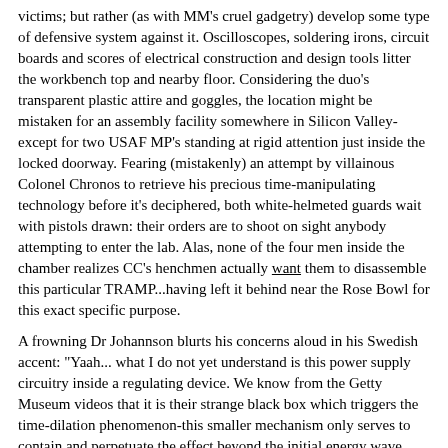victims; but rather (as with MM's cruel gadgetry) develop some type of defensive system against it. Oscilloscopes, soldering irons, circuit boards and scores of electrical construction and design tools litter the workbench top and nearby floor. Considering the duo's transparent plastic attire and goggles, the location might be mistaken for an assembly facility somewhere in Silicon Valley- except for two USAF MP's standing at rigid attention just inside the locked doorway. Fearing (mistakenly) an attempt by villainous Colonel Chronos to retrieve his precious time-manipulating technology before it's deciphered, both white-helmeted guards wait with pistols drawn: their orders are to shoot on sight anybody attempting to enter the lab. Alas, none of the four men inside the chamber realizes CC's henchmen actually want them to disassemble this particular TRAMP...having left it behind near the Rose Bowl for this exact specific purpose.
A frowning Dr Johannson blurts his concerns aloud in his Swedish accent: "Yaah... what I do not yet understand is this power supply circuitry inside a regulating device. We know from the Getty Museum videos that it is their strange black box which triggers the time-dilation phenomenon-this smaller mechanism only serves to contain and perpetuate the effect beyond the initial energy wave blast". His assistant confirms, "You are absolutely right, Sir. This thing was only able to keep two hijacked truck drivers frozen because it was plugged into a nearby garage wall socket, from which it was pulling enough electricity to brown-out several city blocks. It is either redundant or nonsensical for the gadget to have an internal power source... especially one that is bioelectrical! Look at that tissue inside the small vial... it reminds me of a small piece of a kidney- or liver perhaps- yet our lab medical scanners can't make heads or tails of it". A determined Nils makes his fateful decision. "There is zimply no other way to comprehend the workings of zis machine other than to proceed and energize it. Lives of hundreds of young women rest on our ability to unravel mysteries of Chronos' time-manipulations. Scotty,